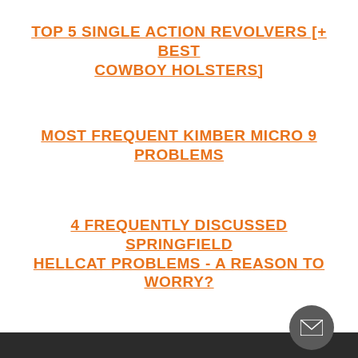TOP 5 SINGLE ACTION REVOLVERS [+ BEST COWBOY HOLSTERS]
MOST FREQUENT KIMBER MICRO 9 PROBLEMS
4 FREQUENTLY DISCUSSED SPRINGFIELD HELLCAT PROBLEMS - A REASON TO WORRY?